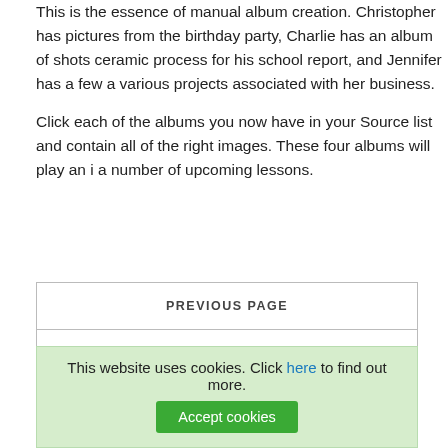This is the essence of manual album creation. Christopher has pictures from the birthday party, Charlie has an album of shots ceramic process for his school report, and Jennifer has a few a various projects associated with her business.
Click each of the albums you now have in your Source list and contain all of the right images. These four albums will play an i a number of upcoming lessons.
PREVIOUS PAGE
TABLE OF CONTENT
NEXT PAGE
This website uses cookies. Click here to find out more. Accept cookies